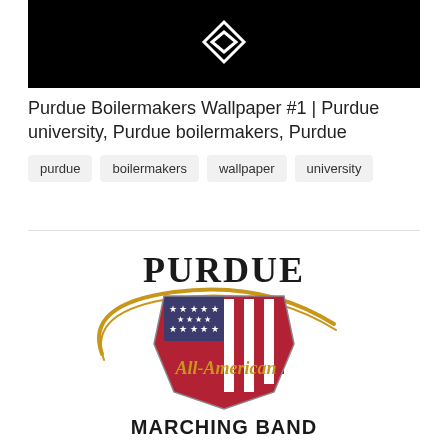[Figure (illustration): Black background with white diamond/chevron logo at top]
Purdue Boilermakers Wallpaper #1 | Purdue university, Purdue boilermakers, Purdue
purdue
boilermakers
wallpaper
university
[Figure (logo): Purdue All-American Marching Band logo with shield featuring American flag design, gold arc, and text PURDUE / All-American / MARCHING BAND]